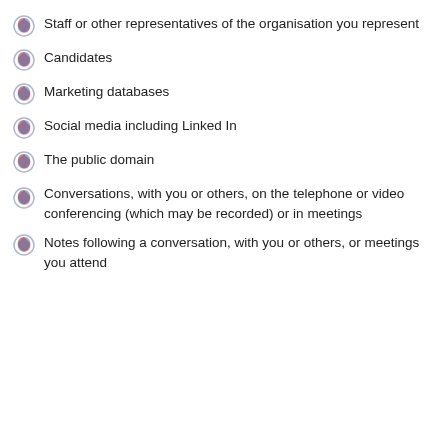Staff or other representatives of the organisation you represent
Candidates
Marketing databases
Social media including Linked In
The public domain
Conversations, with you or others, on the telephone or video conferencing (which may be recorded) or in meetings
Notes following a conversation, with you or others, or meetings you attend
How w
We wil party f includi
Co
Us
Se arr
This website uses cookies to ensure you get the best experience on our website.
Read More
Got it!